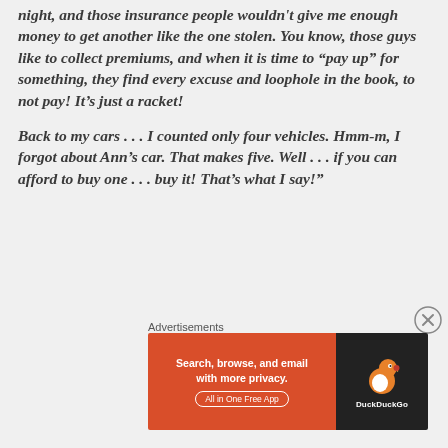night, and those insurance people wouldn't give me enough money to get another like the one stolen.  You know, those guys like to collect premiums, and when it is time to “pay up” for something, they find every excuse and loophole in the book, to not pay!   It’s just a racket!
Back to my cars . . . I counted only four vehicles.  Hmm-m, I forgot about Ann’s car.  That makes five.  Well . . . if you can afford to buy one . . . buy it!  That’s what I say!”
Advertisements
[Figure (other): DuckDuckGo advertisement banner: orange left panel with text 'Search, browse, and email with more privacy. All in One Free App' and dark right panel with DuckDuckGo duck logo and brand name.]